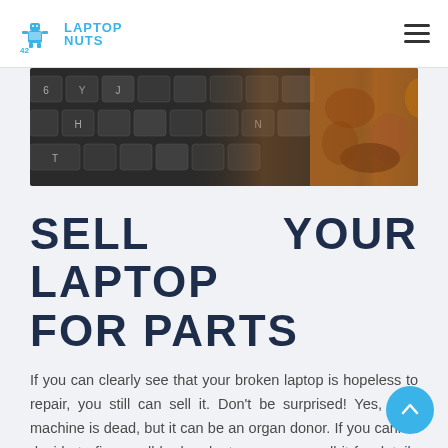LAPTOP NUTS [logo] [hamburger menu]
[Figure (photo): Close-up photo of a dark laptop keyboard with some keys visible and what appears to be burn or rust damage on the right side]
SELL YOUR LAPTOP FOR PARTS
If you can clearly see that your broken laptop is hopeless to repair, you still can sell it. Don't be surprised! Yes, your machine is dead, but it can be an organ donor. If you cannot decide to fix or sell broken laptop, you can sell it for details and spend no time for that. It can be done different ways. If you want to make more money from your machine, try to sell your laptop by parts on your